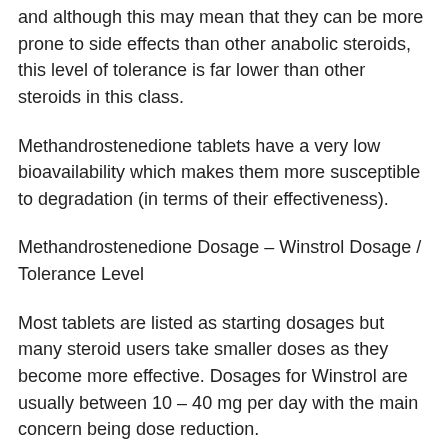and although this may mean that they can be more prone to side effects than other anabolic steroids, this level of tolerance is far lower than other steroids in this class.
Methandrostenedione tablets have a very low bioavailability which makes them more susceptible to degradation (in terms of their effectiveness).
Methandrostenedione Dosage – Winstrol Dosage / Tolerance Level
Most tablets are listed as starting dosages but many steroid users take smaller doses as they become more effective. Dosages for Winstrol are usually between 10 – 40 mg per day with the main concern being dose reduction.
Winstrol tablets give a dose in mg per day (mg/kg). For example, at 40 mg/kg, it would